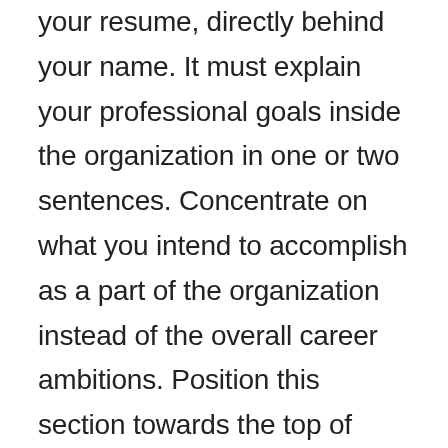your resume, directly behind your name. It must explain your professional goals inside the organization in one or two sentences. Concentrate on what you intend to accomplish as a part of the organization instead of the overall career ambitions. Position this section towards the top of your resume and add a distinctive title to capture your attention